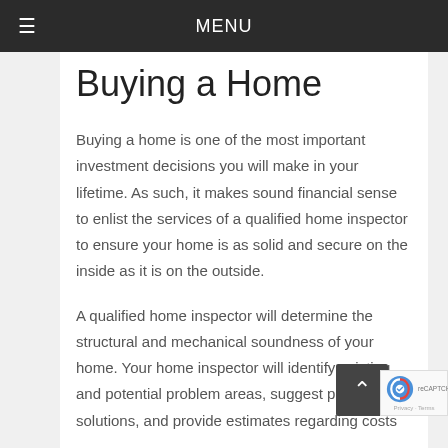MENU
Buying a Home
Buying a home is one of the most important investment decisions you will make in your lifetime. As such, it makes sound financial sense to enlist the services of a qualified home inspector to ensure your home is as solid and secure on the inside as it is on the outside.
A qualified home inspector will determine the structural and mechanical soundness of your home. Your home inspector will identify existing and potential problem areas, suggest practical solutions, and provide estimates regarding costs